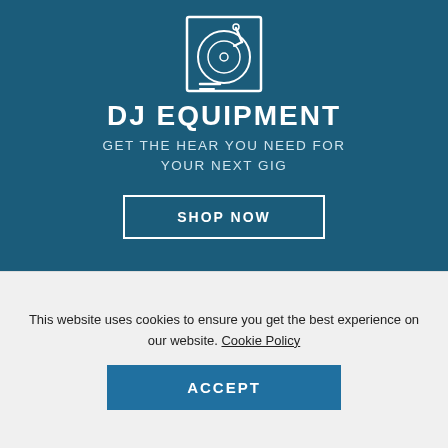[Figure (illustration): Turntable/DJ equipment icon in white outline on dark blue background]
DJ EQUIPMENT
GET THE HEAR YOU NEED FOR YOUR NEXT GIG
SHOP NOW
[Figure (photo): Partial view of microphone icon on red/brown background with blurred DJ equipment photo]
This website uses cookies to ensure you get the best experience on our website. Cookie Policy
ACCEPT